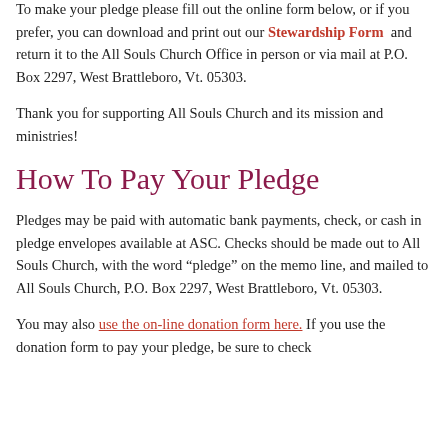your giving level.
To make your pledge please fill out the online form below, or if you prefer, you can download and print out our Stewardship Form and return it to the All Souls Church Office in person or via mail at P.O. Box 2297, West Brattleboro, Vt. 05303.
Thank you for supporting All Souls Church and its mission and ministries!
How To Pay Your Pledge
Pledges may be paid with automatic bank payments, check, or cash in pledge envelopes available at ASC. Checks should be made out to All Souls Church, with the word “pledge” on the memo line, and mailed to All Souls Church, P.O. Box 2297, West Brattleboro, Vt. 05303.
You may also use the on-line donation form here. If you use the donation form to pay your pledge, be sure to check